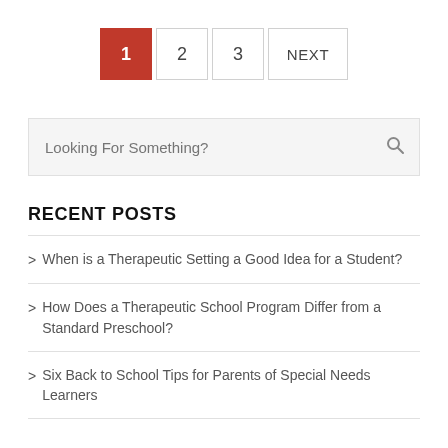1 2 3 NEXT
Looking For Something?
RECENT POSTS
> When is a Therapeutic Setting a Good Idea for a Student?
> How Does a Therapeutic School Program Differ from a Standard Preschool?
> Six Back to School Tips for Parents of Special Needs Learners